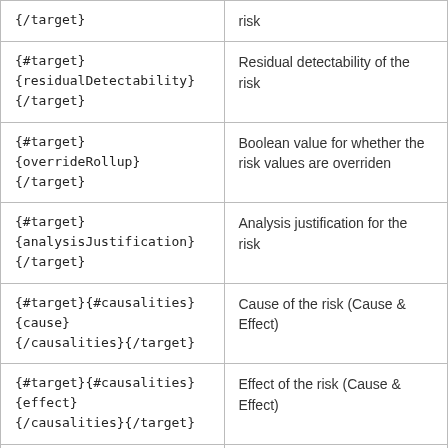| Field/Tag | Description |
| --- | --- |
| {/target} | risk |
| {#target}{residualDetectability}{/target} | Residual detectability of the risk |
| {#target}{overrideRollup}{/target} | Boolean value for whether the risk values are overriden |
| {#target}{analysisJustification}{/target} | Analysis justification for the risk |
| {#target}{#causalities}{cause}{/causalities}{/target} | Cause of the risk (Cause & Effect) |
| {#target}{#causalities}{effect}{/causalities}{/target} | Effect of the risk (Cause & Effect) |
| {residualScore} | The residual score after controls have been factored in |
| {residualPriority} | The level (numerical) of residual priority |
| {residualPriorityText} | The level (textual) of residual priority (partial...) |